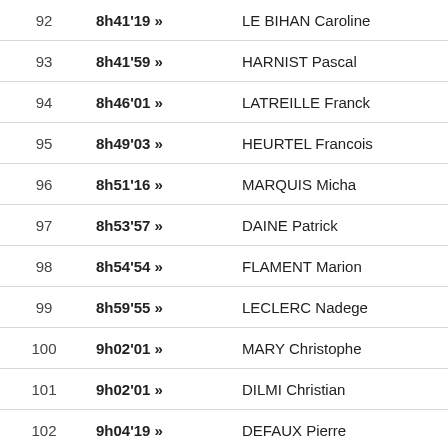| Rank | Time | Name | Club |
| --- | --- | --- | --- |
| 92 | 8h41'19 » | LE BIHAN Caroline | Taillefer Tr... |
| 93 | 8h41'59 » | HARNIST Pascal | Auxerre En... |
| 94 | 8h46'01 » | LATREILLE Franck | Decines M... |
| 95 | 8h49'03 » | HEURTEL Francois | Bouliac Sp... |
| 96 | 8h51'16 » | MARQUIS Micha | Bouliac Sp... |
| 97 | 8h53'57 » | DAINE Patrick | As Somme... |
| 98 | 8h54'54 » | FLAMENT Marion | Team Prov... |
| 99 | 8h59'55 » | LECLERC Nadege | Entente At... |
| 100 | 9h02'01 » | MARY Christophe | Ec Orleans... |
| 101 | 9h02'01 » | DILMI Christian | Ec Orleans... |
| 102 | 9h04'19 » | DEFAUX Pierre | Athle 55 *... |
| 103 | 9h04'42 » | LAHACHE Anouk | Entente O... |
| 104 | 9h06'19 » | THIVOLLE Thierry | Athletic Cl... |